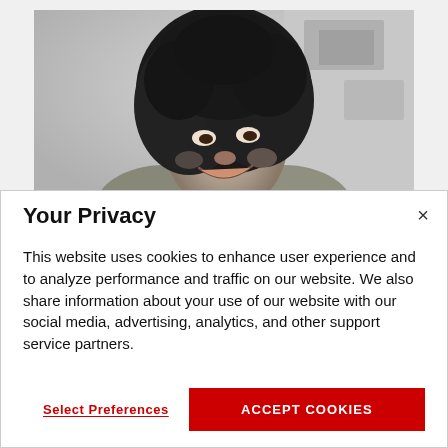[Figure (photo): Black and white photograph of a smiling woman with natural curly hair, looking upward, cropped at shoulder level with a light background.]
Your Privacy
This website uses cookies to enhance user experience and to analyze performance and traffic on our website. We also share information about your use of our website with our social media, advertising, analytics, and other support service partners.
Select Preferences
ACCEPT COOKIES